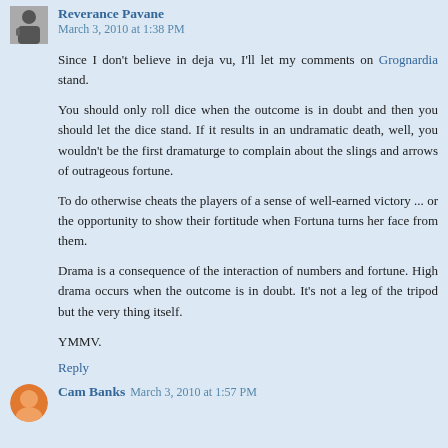Reverance Pavane  March 3, 2010 at 1:38 PM
Since I don't believe in deja vu, I'll let my comments on Grognardia stand.
You should only roll dice when the outcome is in doubt and then you should let the dice stand. If it results in an undramatic death, well, you wouldn't be the first dramaturge to complain about the slings and arrows of outrageous fortune.
To do otherwise cheats the players of a sense of well-earned victory ... or the opportunity to show their fortitude when Fortuna turns her face from them.
Drama is a consequence of the interaction of numbers and fortune. High drama occurs when the outcome is in doubt. It's not a leg of the tripod but the very thing itself.
YMMV.
Reply
Cam Banks  March 3, 2010 at 1:57 PM